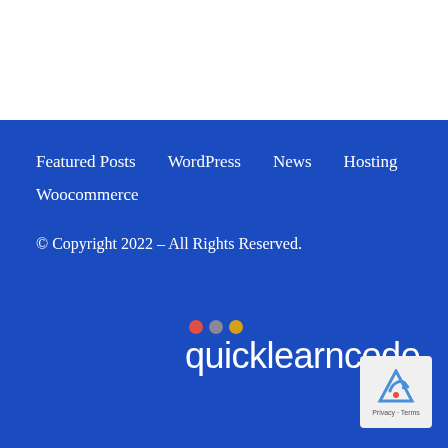Featured Posts
WordPress
News
Hosting
Woocommerce
© Copyright 2022 – All Rights Reserved.
[Figure (logo): quicklearncode logo with three colored dots (red, gray, yellow) above the text 'quicklearncode' in white on a blue background]
[Figure (other): Google reCAPTCHA badge with arrow icon and Privacy/Terms text]